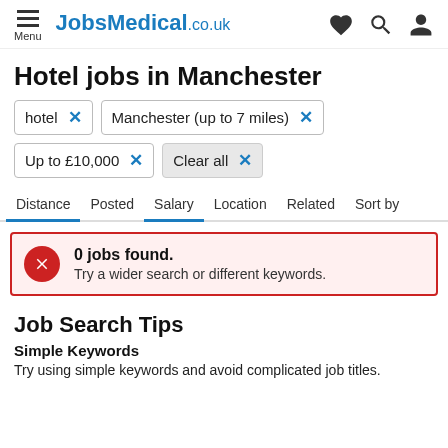JobsMedical.co.uk
Hotel jobs in Manchester
hotel × Manchester (up to 7 miles) × Up to £10,000 × Clear all ×
Distance | Posted | Salary | Location | Related | Sort by
0 jobs found. Try a wider search or different keywords.
Job Search Tips
Simple Keywords
Try using simple keywords and avoid complicated job titles.